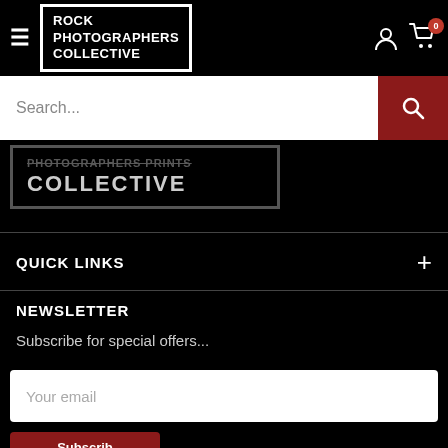[Figure (screenshot): Navigation bar with hamburger menu, Rock Photographers Collective logo, user account icon, and cart icon with badge showing 0]
[Figure (screenshot): Search bar with text input placeholder 'Search...' and dark red search button with magnifying glass icon]
[Figure (logo): Rock Photographers Collective logo, large version, partially cropped]
QUICK LINKS
NEWSLETTER
Subscribe for special offers...
Your email